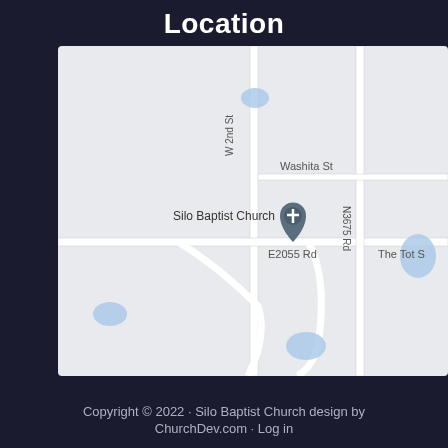Location
[Figure (map): Google Maps screenshot showing the location of Silo Baptist Church at the intersection of W 2nd St and E2055 Rd. Nearby streets include Washita St and N3675 Rd. Text on map: W 2nd St, Washita St, N3675 Rd, E2055 Rd, Silo Baptist Church (with pin marker), The Tot S. Water features visible as blue shapes.]
Copyright © 2022 · Silo Baptist Church design by ChurchDev.com · Log in